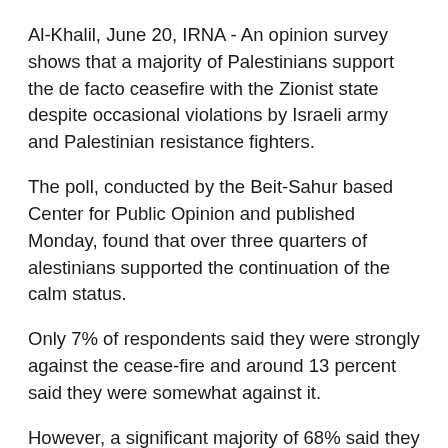Al-Khalil, June 20, IRNA - An opinion survey shows that a majority of Palestinians support the de facto ceasefire with the Zionist state despite occasional violations by Israeli army and Palestinian resistance fighters.
The poll, conducted by the Beit-Sahur based Center for Public Opinion and published Monday, found that over three quarters of alestinians supported the continuation of the calm status.
Only 7% of respondents said they were strongly against the cease-fire and around 13 percent said they were somewhat against it.
However, a significant majority of 68% said they were worried or very worried about their personal security.
Prof. Nabil Kukali who supervised the study argued that many Palestinians felt insecure for two reasons: the